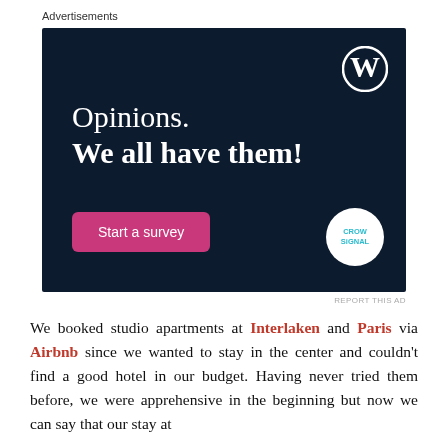Advertisements
[Figure (other): WordPress/Crowdsignal advertisement with dark navy background. Headline reads 'Opinions. We all have them!' with a pink 'Start a survey' button and Crowdsignal logo circle in the bottom right. WordPress 'W' logo in the top right.]
REPORT THIS AD
We booked studio apartments at Interlaken and Paris via Airbnb since we wanted to stay in the center and couldn't find a good hotel in our budget. Having never tried them before, we were apprehensive in the beginning but now we can say that our stay at